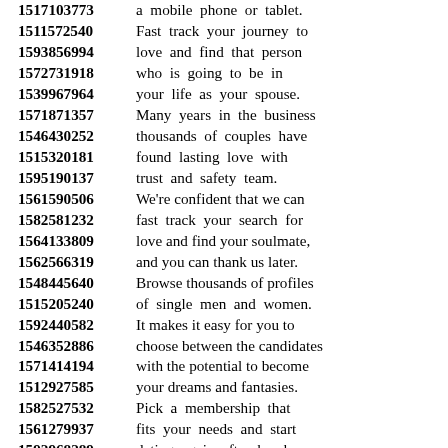1517103773 a mobile phone or tablet. 1511572540 Fast track your journey to 1593856994 love and find that person 1572731918 who is going to be in 1539967964 your life as your spouse. 1571871357 Many years in the business 1546430252 thousands of couples have 1515320181 found lasting love with 1595190137 trust and safety team. 1561590506 We're confident that we can 1582581232 fast track your search for 1564133809 love and find your soulmate, 1562566319 and you can thank us later. 1548445640 Browse thousands of profiles 1515205240 of single men and women. 1592440582 It makes it easy for you to 1546352886 choose between the candidates 1571414194 with the potential to become 1512927585 your dreams and fantasies. 1582527532 Pick a membership that 1561279937 fits your needs and start 1592968289 dating again after breakup. 1513675643 We'll support you through 1512892660 every step of your journey 1562251849 to help you find your match. 1553495329